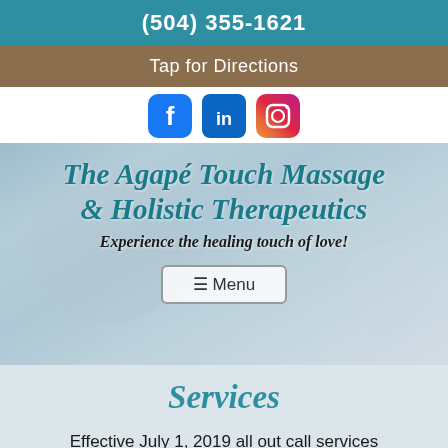(504) 355-1621
Tap for Directions
[Figure (illustration): Social media icons: Facebook, LinkedIn, Instagram]
The Agapé Touch Massage & Holistic Therapeutics
Experience the healing touch of love!
≡ Menu
Services
Effective July 1, 2019 all out call services